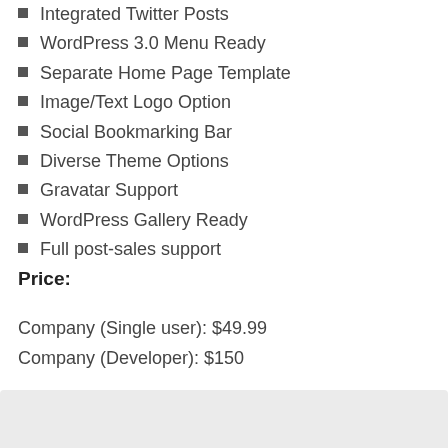Integrated Twitter Posts
WordPress 3.0 Menu Ready
Separate Home Page Template
Image/Text Logo Option
Social Bookmarking Bar
Diverse Theme Options
Gravatar Support
WordPress Gallery Ready
Full post-sales support
Price:
Company (Single user): $49.99
Company (Developer): $150
[Figure (infographic): Demo & Details and Download buttons with icons, and a .ZIP package download line listing Mediafire, Rapidshare, Hotfile, Mega...]